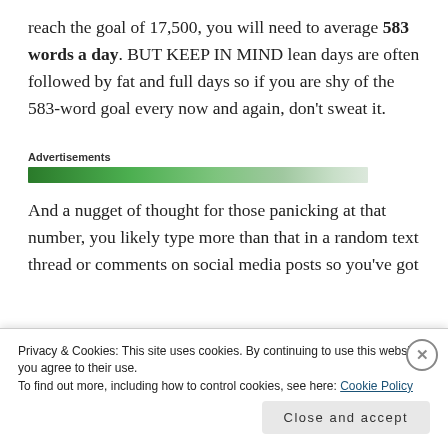reach the goal of 17,500, you will need to average 583 words a day. BUT KEEP IN MIND lean days are often followed by fat and full days so if you are shy of the 583-word goal every now and again, don't sweat it.
[Figure (other): Advertisements banner — a horizontal green gradient progress bar labeled 'Advertisements']
And a nugget of thought for those panicking at that number, you likely type more than that in a random text thread or comments on social media posts so you've got
Privacy & Cookies: This site uses cookies. By continuing to use this website, you agree to their use.
To find out more, including how to control cookies, see here: Cookie Policy